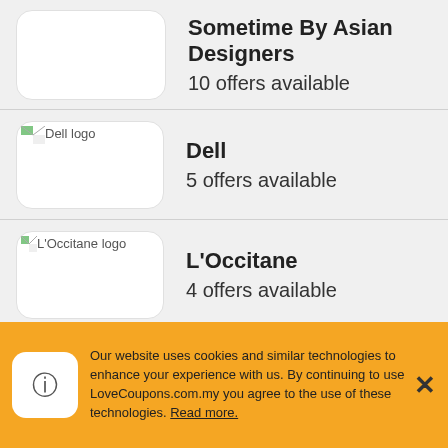Sometime By Asian Designers
10 offers available
Dell
5 offers available
L'Occitane
4 offers available
Fossil
2 offers available
Our website uses cookies and similar technologies to enhance your experience with us. By continuing to use LoveCoupons.com.my you agree to the use of these technologies. Read more.